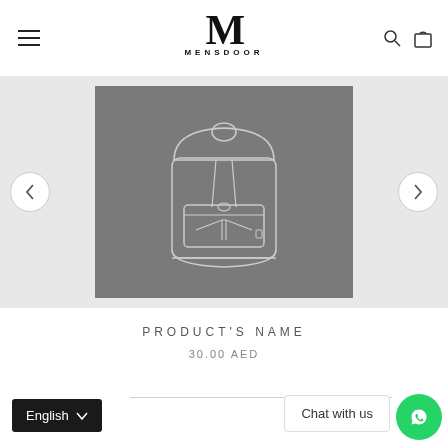MENSDOOR
[Figure (illustration): Product placeholder image showing a backpack line drawing on a grey background]
PRODUCT'S NAME
30.00 AED
English
Chat with us